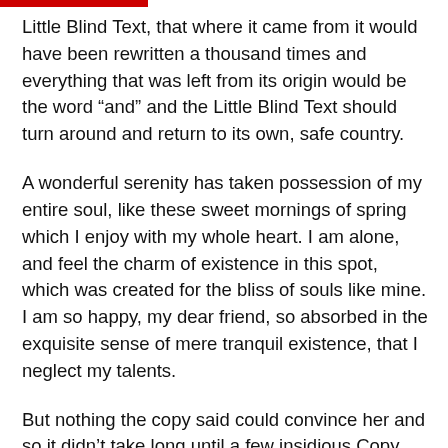Little Blind Text, that where it came from it would have been rewritten a thousand times and everything that was left from its origin would be the word “and” and the Little Blind Text should turn around and return to its own, safe country.
A wonderful serenity has taken possession of my entire soul, like these sweet mornings of spring which I enjoy with my whole heart. I am alone, and feel the charm of existence in this spot, which was created for the bliss of souls like mine. I am so happy, my dear friend, so absorbed in the exquisite sense of mere tranquil existence, that I neglect my talents.
But nothing the copy said could convince her and so it didn’t take long until a few insidious Copy Writers ambushed her, made her drunk with Longe and Parole and dragged her into their agency, where